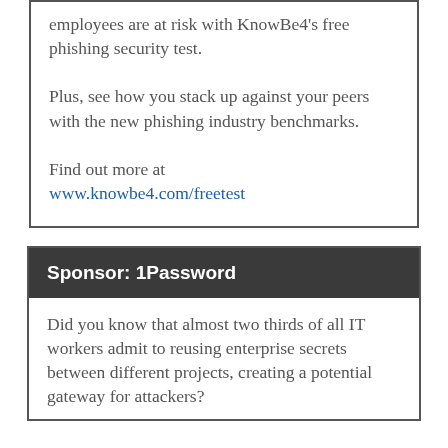employees are at risk with KnowBe4's free phishing security test.

Plus, see how you stack up against your peers with the new phishing industry benchmarks.

Find out more at www.knowbe4.com/freetest
Sponsor: 1Password
Did you know that almost two thirds of all IT workers admit to reusing enterprise secrets between different projects, creating a potential gateway for attackers?